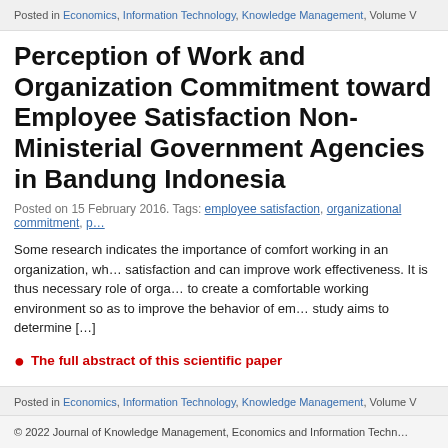Posted in Economics, Information Technology, Knowledge Management, Volume V
Perception of Work and Organization Commitment toward Employee Satisfaction Non-Ministerial Government Agencies in Bandung Indonesia
Posted on 15 February 2016. Tags: employee satisfaction, organizational commitment, p…
Some research indicates the importance of comfort working in an organization, wh… satisfaction and can improve work effectiveness. It is thus necessary role of orga… to create a comfortable working environment so as to improve the behavior of em… study aims to determine […]
The full abstract of this scientific paper
Posted in Economics, Information Technology, Knowledge Management, Volume V
© 2022 Journal of Knowledge Management, Economics and Information Techn…